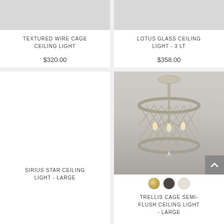[Figure (photo): Product listing card for Textured Wire Cage Ceiling Light, partially visible product image at top (grey background), product name and price below]
TEXTURED WIRE CAGE CEILING LIGHT
$320.00
[Figure (photo): Product listing card for Lotus Glass Ceiling Light - 3 LT, grey background product image partially visible at top, product name and price below]
LOTUS GLASS CEILING LIGHT - 3 LT
$358.00
[Figure (photo): Product listing card for Sirius Star Ceiling Light - Large, white/empty image area, product name partially visible at bottom]
SIRIUS STAR CEILING LIGHT - LARGE
[Figure (photo): Product listing card for Trellis Cage Semi-Flush Ceiling Light - Large, showing a silver/champagne wire cage drum chandelier with candelabra bulbs, three color swatches (gold, dark, light), scroll-to-top button visible]
TRELLIS CAGE SEMI-FLUSH CEILING LIGHT - LARGE